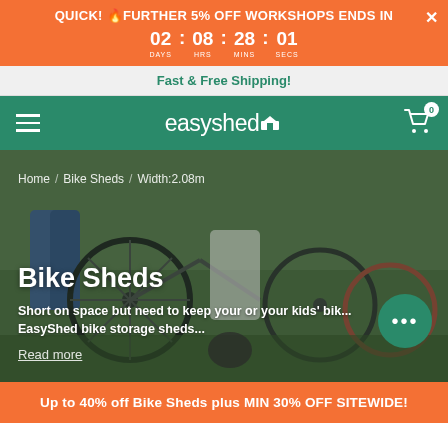QUICK! 🔥FURTHER 5% OFF WORKSHOPS ENDS IN 02 : 08 : 28 : 01 DAYS HRS MINS SECS
Fast & Free Shipping!
[Figure (logo): EasyShed logo with navigation bar on green/teal background]
[Figure (photo): Hero image of people with bikes outdoors on grass, with breadcrumb navigation (Home / Bike Sheds / Width:2.08m), page title Bike Sheds, and description text about bike storage sheds]
Bike Sheds
Short on space but need to keep your or your kids' bik... EasyShed bike storage sheds...
Read more
Up to 40% off Bike Sheds plus MIN 30% OFF SITEWIDE!